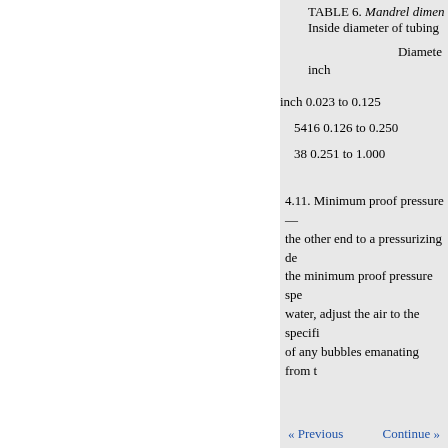TABLE 6. Mandrel dimen... Inside diameter of tubing
| inch | Diameter... | inch (range) |
| --- | --- | --- |
| inch 0.023 to 0.125 |  |  |
| 5416 |  | 0.126 to 0.250 |
| 38 |  | 0.251 to 1.000 |
4.11. Minimum proof pressure— the other end to a pressurizing de the minimum proof pressure spe water, adjust the air to the specifi of any bubbles emanating from t
In order that purchasers may i Standard, producers and distribu and address on product labels, in
« Previous   Continue »